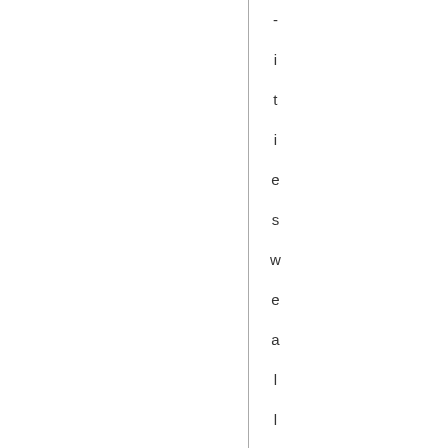ities_wealth_probably_narrowly_avoi